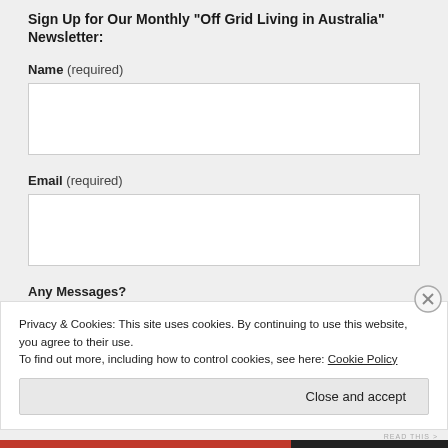Sign Up for Our Monthly "Off Grid Living in Australia" Newsletter:
Name (required)
Email (required)
Any Messages?
Privacy & Cookies: This site uses cookies. By continuing to use this website, you agree to their use.
To find out more, including how to control cookies, see here: Cookie Policy
Close and accept